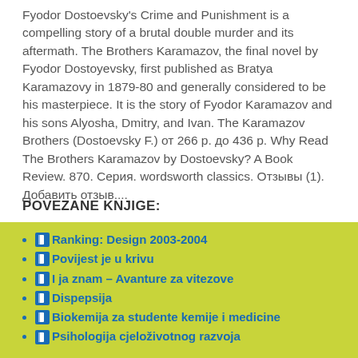Fyodor Dostoevsky's Crime and Punishment is a compelling story of a brutal double murder and its aftermath. The Brothers Karamazov, the final novel by Fyodor Dostoyevsky, first published as Bratya Karamazovy in 1879-80 and generally considered to be his masterpiece. It is the story of Fyodor Karamazov and his sons Alyosha, Dmitry, and Ivan. The Karamazov Brothers (Dostoevsky F.) от 266 р. до 436 р. Why Read The Brothers Karamazov by Dostoevsky? A Book Review. 870. Серия. wordsworth classics. Отзывы (1). Добавить отзыв....
POVEZANE KNJIGE:
Ranking: Design 2003-2004
Povijest je u krivu
I ja znam – Avanture za vitezove
Dispepsija
Biokemija za studente kemije i medicine
Psihologija cjeloživotnog razvoja